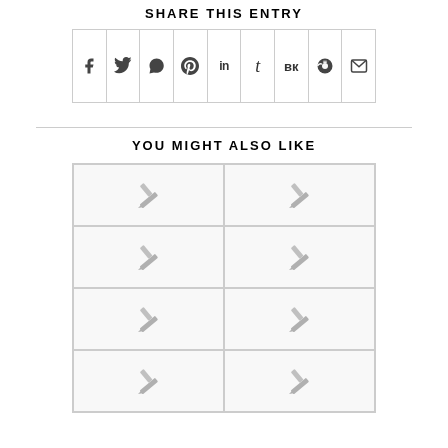SHARE THIS ENTRY
[Figure (other): Social share bar with icons for Facebook, Twitter, WhatsApp, Pinterest, LinkedIn, Tumblr, VK, Reddit, and Email]
YOU MIGHT ALSO LIKE
[Figure (other): Grid of 8 placeholder image cells arranged in 2 columns and 4 rows, each containing a pencil/edit icon]